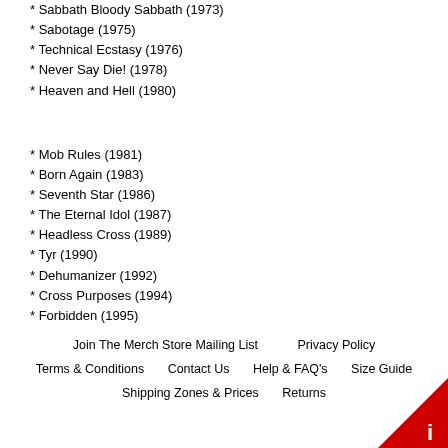* Sabbath Bloody Sabbath (1973)
* Sabotage (1975)
* Technical Ecstasy (1976)
* Never Say Die! (1978)
* Heaven and Hell (1980)
* Mob Rules (1981)
* Born Again (1983)
* Seventh Star (1986)
* The Eternal Idol (1987)
* Headless Cross (1989)
* Tyr (1990)
* Dehumanizer (1992)
* Cross Purposes (1994)
* Forbidden (1995)
Join The Merch Store Mailing List   Privacy Policy   Terms & Conditions   Contact Us   Help & FAQ's   Size Guide   Shipping Zones & Prices   Returns